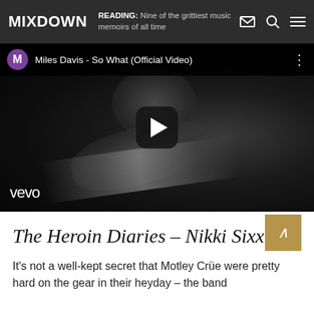MIXDOWN | READING: Nine of the grittiest music memoirs of all time
[Figure (screenshot): YouTube video thumbnail showing Miles Davis - So What (Official Video) via Vevo. Black and white image of Miles Davis playing trumpet. YouTube top bar with purple M avatar, video title, and three-dot menu. Play button in center. Vevo watermark bottom left.]
The Heroin Diaries – Nikki Sixx
It's not a well-kept secret that Motley Crüe were pretty hard on the gear in their heyday – the band